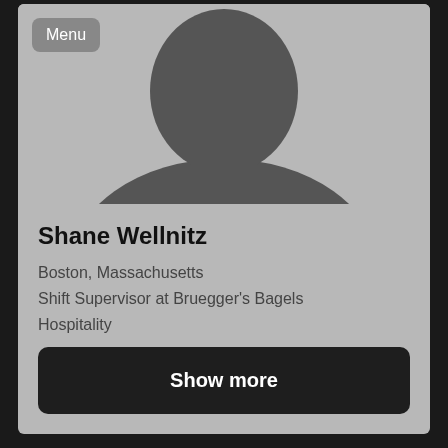[Figure (illustration): Default/anonymous user avatar silhouette — a gray human head and shoulders shape on a light gray background]
Menu
Shane Wellnitz
Boston, Massachusetts
Shift Supervisor at Bruegger's Bagels
Hospitality
Show more